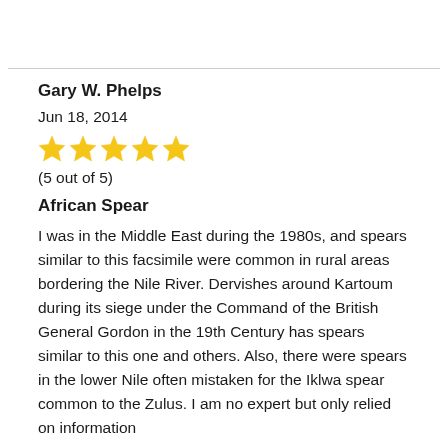Gary W. Phelps
Jun 18, 2014
[Figure (other): 5 gold star rating icons]
(5 out of 5)
African Spear
I was in the Middle East during the 1980s, and spears similar to this facsimile were common in rural areas bordering the Nile River. Dervishes around Kartoum during its siege under the Command of the British General Gordon in the 19th Century has spears similar to this one and others. Also, there were spears in the lower Nile often mistaken for the Iklwa spear common to the Zulus. I am no expert but only relied on information